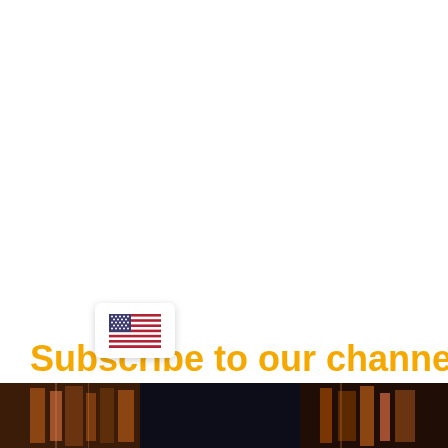Subscribe to our channel:
[Figure (illustration): US flag emoji badge overlay on the subscribe text area]
[Figure (photo): Bottom strip showing a dark scene, partially visible, appears to be a bookshelf or indoor setting with warm and dark tones]